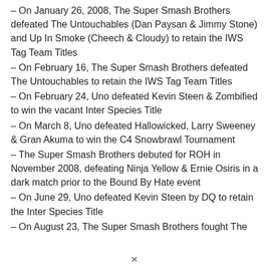– On January 26, 2008, The Super Smash Brothers defeated The Untouchables (Dan Paysan & Jimmy Stone) and Up In Smoke (Cheech & Cloudy) to retain the IWS Tag Team Titles
– On February 16, The Super Smash Brothers defeated The Untouchables to retain the IWS Tag Team Titles
– On February 24, Uno defeated Kevin Steen & Zombified to win the vacant Inter Species Title
– On March 8, Uno defeated Hallowicked, Larry Sweeney & Gran Akuma to win the C4 Snowbrawl Tournament
– The Super Smash Brothers debuted for ROH in November 2008, defeating Ninja Yellow & Ernie Osiris in a dark match prior to the Bound By Hate event
– On June 29, Uno defeated Kevin Steen by DQ to retain the Inter Species Title
– On August 23, The Super Smash Brothers fought The